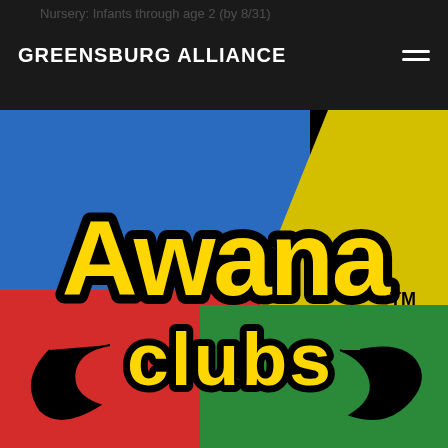GREENSBURG ALLIANCE
[Figure (logo): Awana Clubs logo on a four-color (blue, yellow, red, green) quadrant background with bold yellow and black lettering]